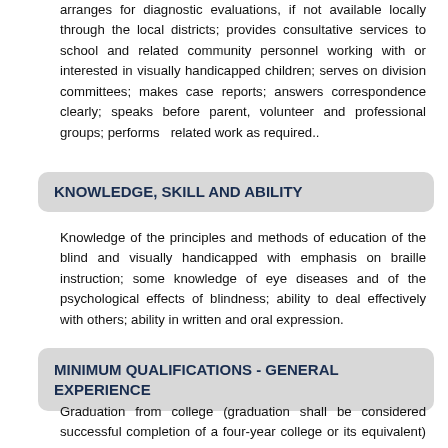arranges for diagnostic evaluations, if not available locally through the local districts; provides consultative services to school and related community personnel working with or interested in visually handicapped children; serves on division committees; makes case reports; answers correspondence clearly; speaks before parent, volunteer and professional groups; performs related work as required..
KNOWLEDGE, SKILL AND ABILITY
Knowledge of the principles and methods of education of the blind and visually handicapped with emphasis on braille instruction; some knowledge of eye diseases and of the psychological effects of blindness; ability to deal effectively with others; ability in written and oral expression.
MINIMUM QUALIFICATIONS - GENERAL EXPERIENCE
Graduation from college (graduation shall be considered successful completion of a four-year college or its equivalent) and not less than twelve (12) semester hours'